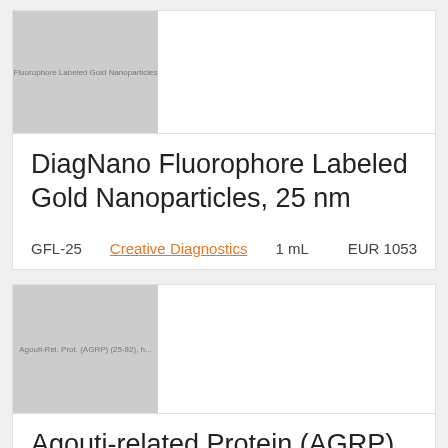[Figure (photo): Product thumbnail image placeholder for DiagNano Fluorophore Labeled Gold Nanoparticles, 25 nm — gray rectangle with watermark text]
DiagNano Fluorophore Labeled Gold Nanoparticles, 25 nm
| ID | Supplier | Volume | Price |
| --- | --- | --- | --- |
| GFL-25 | Creative Diagnostics | 1 mL | EUR 1053 |
[Figure (photo): Product thumbnail image placeholder for Agouti-related Protein (AGRP) (25-82), human — gray rectangle with watermark text]
Agouti-related Protein (AGRP) (25-82), human